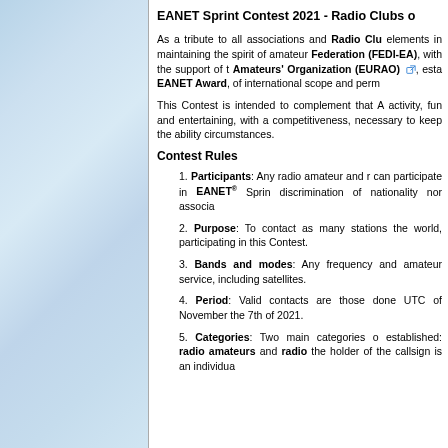[Figure (illustration): Light blue cloudy sky background on the left panel]
EANET Sprint Contest 2021 - Radio Clubs o…
As a tribute to all associations and Radio Clubs elements in maintaining the spirit of amateur Federation (FEDI-EA), with the support of the Amateurs' Organization (EURAO), established the EANET Award, of international scope and perm…
This Contest is intended to complement that A… activity, fun and entertaining, with a competitiveness, necessary to keep the ability circumstances.
Contest Rules
Participants: Any radio amateur and r… can participate in EANET® Sprin… discrimination of nationality nor associa…
Purpose: To contact as many stations… the world, participating in this Contest.
Bands and modes: Any frequency and… amateur service, including satellites.
Period: Valid contacts are those done UTC of November the 7th of 2021.
Categories: Two main categories o… established: radio amateurs and radio… the holder of the callsign is an individua…